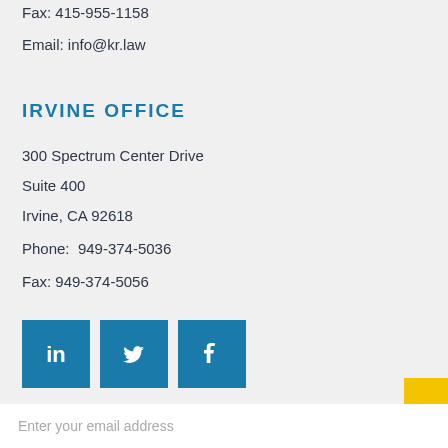Fax: 415-955-1158
Email: info@kr.law
IRVINE OFFICE
300 Spectrum Center Drive
Suite 400
Irvine, CA 92618
Phone:  949-374-5036
Fax: 949-374-5056
[Figure (logo): LinkedIn, Twitter, and Facebook social media icons in blue squares]
STAY AHEAD OF LEGAL MATTERS. JOIN OUR MAILING LIST
Enter your email address